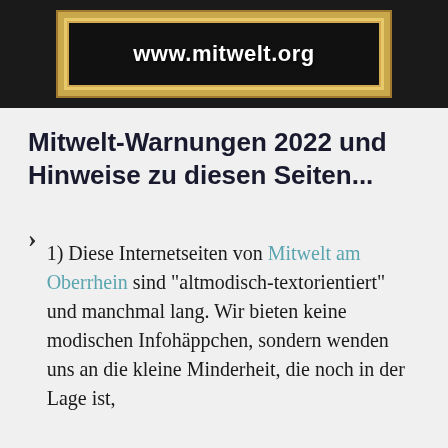[Figure (other): Black background image with a gold-framed sign showing the URL www.mitwelt.org in white bold text]
Mitwelt-Warnungen 2022 und Hinweise zu diesen Seiten...
1) Diese Internetseiten von Mitwelt am Oberrhein sind "altmodisch-textorientiert" und manchmal lang. Wir bieten keine modischen Infohäppchen, sondern wenden uns an die kleine Minderheit, die noch in der Lage ist,